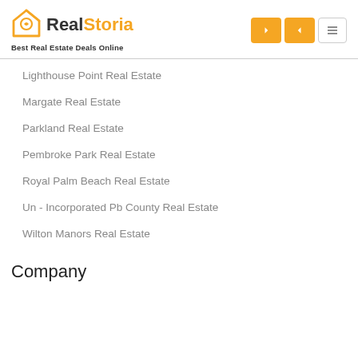RealStoria — Best Real Estate Deals Online
Lighthouse Point Real Estate
Margate Real Estate
Parkland Real Estate
Pembroke Park Real Estate
Royal Palm Beach Real Estate
Un - Incorporated Pb County Real Estate
Wilton Manors Real Estate
Company